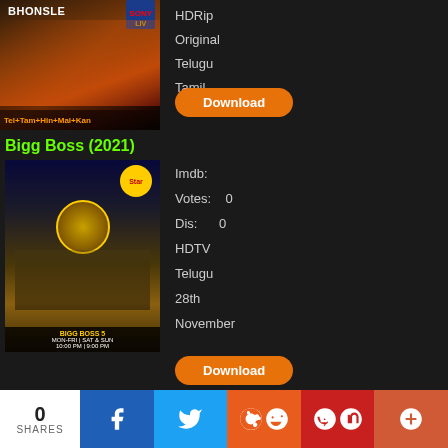[Figure (photo): Movie poster for Bhonsle showing a man in orange light with Sony LIV logo and text 'Tel+Tam+Hin+Mal+Kan']
HDRip
Original
Telugu
Tamil
Download
Bigg Boss (2021)
[Figure (photo): Movie/show poster for Bigg Boss 5 Telugu featuring a man in suit with Star logo, schedule info at the bottom]
Imdb:
Votes:    0
Dis:      0
HDTV
Telugu
28th
November
Download
0 SHARES   f   Twitter   Reddit   Pinterest   +